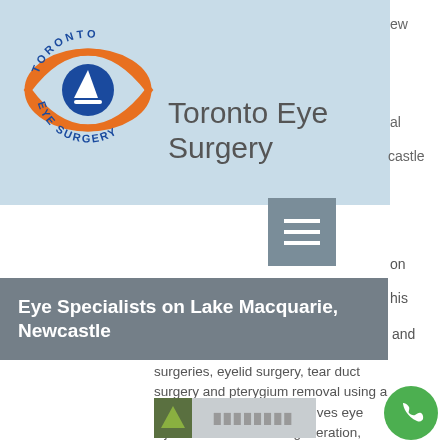[Figure (logo): Toronto Eye Surgery logo - orange eye shape with blue sailboat pupil and circular text reading TORONTO EYE SURGERY]
Toronto Eye Surgery
[Figure (other): Hamburger menu icon button (three horizontal lines on gray background)]
Eye Specialists on Lake Macquarie, Newcastle
surgeries, eyelid surgery, tear duct surgery and pterygium removal using a sutureless technique. He gives eye injection for macular degeneration, diabetes and retinal venous occlusions.
He operates at Warners Bay Private Hospital, Pittwater Day Surgery and Chatswood Private Hospital. He consults in Mona Vale and Toronto.
[Figure (logo): Blurred/redacted sponsor or partner logo at bottom of page]
[Figure (other): Green circular phone call button]